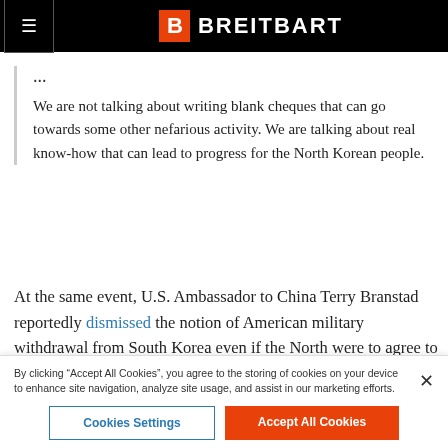BREITBART
...
We are not talking about writing blank cheques that can go towards some other nefarious activity. We are talking about real know-how that can lead to progress for the North Korean people.
At the same event, U.S. Ambassador to China Terry Branstad reportedly dismissed the notion of American military withdrawal from South Korea even if the North were to agree to a complete, verifiable, and irreversible dismantlement of its nuclear weapons.
The United States is offering “an opportunity for North Korea to
By clicking “Accept All Cookies”, you agree to the storing of cookies on your device to enhance site navigation, analyze site usage, and assist in our marketing efforts.
Cookies Settings
Accept All Cookies